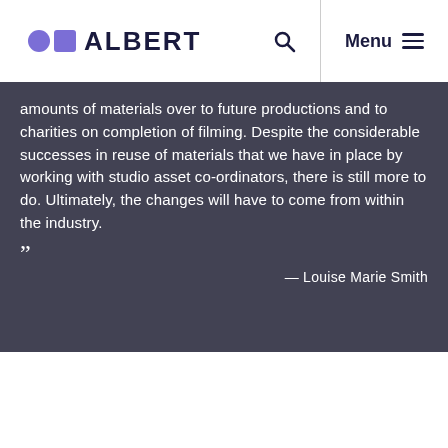ALBERT
amounts of materials over to future productions and to charities on completion of filming. Despite the considerable successes in reuse of materials that we have in place by working with studio asset co-ordinators, there is still more to do. Ultimately, the changes will have to come from within the industry.
”
— Louise Marie Smith